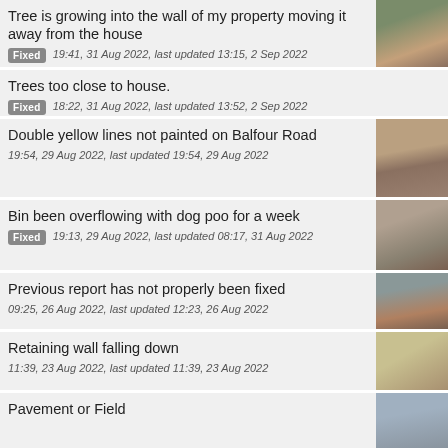Tree is growing into the wall of my property moving it away from the house
Fixed 19:41, 31 Aug 2022, last updated 13:15, 2 Sep 2022
Trees too close to house.
Fixed 18:22, 31 Aug 2022, last updated 13:52, 2 Sep 2022
Double yellow lines not painted on Balfour Road
19:54, 29 Aug 2022, last updated 19:54, 29 Aug 2022
Bin been overflowing with dog poo for a week
Fixed 19:13, 29 Aug 2022, last updated 08:17, 31 Aug 2022
Previous report has not properly been fixed
09:25, 26 Aug 2022, last updated 12:23, 26 Aug 2022
Retaining wall falling down
11:39, 23 Aug 2022, last updated 11:39, 23 Aug 2022
Pavement or Field